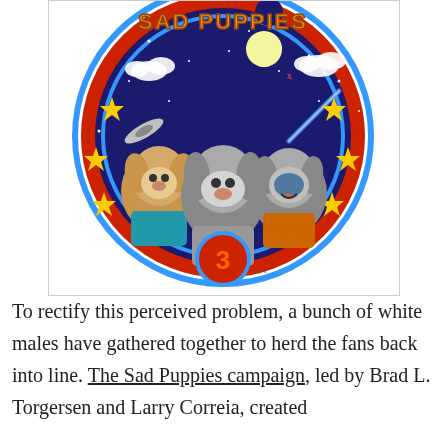[Figure (illustration): Sad Puppies 3 logo: three cartoon dog characters in space suits against a dark blue circular starfield background with red and blue rings, gold stars, spacecraft, moon, clouds, and the number 3 in a red badge at the bottom. Text 'SAD PUPPIES' arcs across the top in orange letters.]
To rectify this perceived problem, a bunch of white males have gathered together to herd the fans back into line. The Sad Puppies campaign, led by Brad L. Torgersen and Larry Correia, created